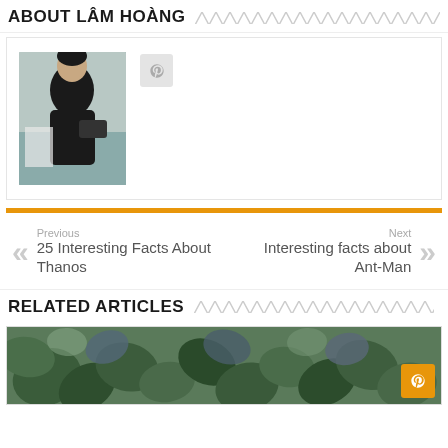ABOUT LÂM HOÀNG
[Figure (photo): Portrait photo of Lâm Hoàng, a man in dark clothing, with a small grey social icon button beside it]
Previous
25 Interesting Facts About Thanos
Next
Interesting facts about Ant-Man
RELATED ARTICLES
[Figure (photo): Related articles thumbnail showing green leafy plants]